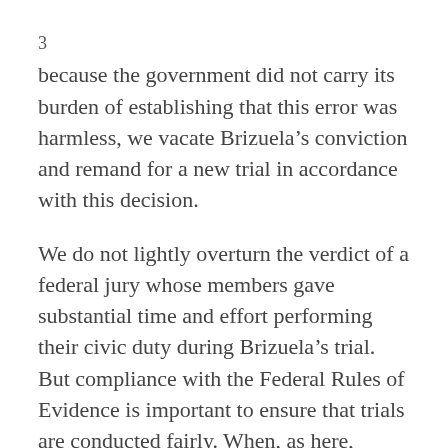3
because the government did not carry its burden of establishing that this error was harmless, we vacate Brizuela’s conviction and remand for a new trial in accordance with this decision.
We do not lightly overturn the verdict of a federal jury whose members gave substantial time and effort performing their civic duty during Brizuela’s trial. But compliance with the Federal Rules of Evidence is important to ensure that trials are conducted fairly. When, as here, evidence introduced in a trial deviates